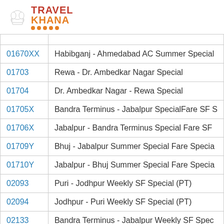[Figure (logo): TravelKhana logo with chef hat icon, red TRAVEL text and orange KHANA text with orange dots underneath]
| Code | Train Name |
| --- | --- |
| 01670XX | Habibganj - Ahmedabad AC Summer Special |
| 01703 | Rewa - Dr. Ambedkar Nagar Special |
| 01704 | Dr. Ambedkar Nagar - Rewa Special |
| 01705X | Bandra Terminus - Jabalpur SpecialFare SF S |
| 01706X | Jabalpur - Bandra Terminus Special Fare SF |
| 01709Y | Bhuj - Jabalpur Summer Special Fare Specia |
| 01710Y | Jabalpur - Bhuj Summer Special Fare Specia |
| 02093 | Puri - Jodhpur Weekly SF Special (PT) |
| 02094 | Jodhpur - Puri Weekly SF Special (PT) |
| 02133 | Bandra Terminus - Jabalpur Weekly SF Spec |